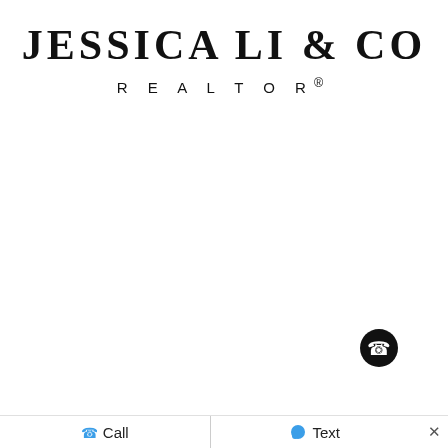JESSICA LI & CO REALTOR®
[Figure (screenshot): Mobile app UI showing a gray bar, black navigation bar with left/right arrows and phone icon, and a bottom action bar with Call and Text buttons and a close X button.]
Call
Text